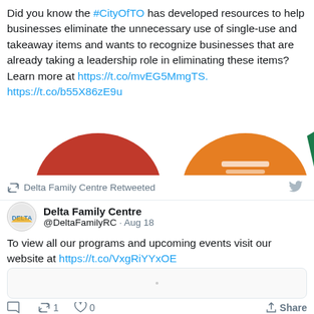Did you know the #CityOfTO has developed resources to help businesses eliminate the unnecessary use of single-use and takeaway items and wants to recognize businesses that are already taking a leadership role in eliminating these items? Learn more at https://t.co/mvEG5MmgTS. https://t.co/b55X86zE9u
[Figure (screenshot): Partial image strip showing tops of three circular/icon images: a dark red semicircle, an orange semicircle with icon, and a small green triangle, cropped at bottom of visible area.]
Delta Family Centre Retweeted
Delta Family Centre @DeltaFamilyRC · Aug 18
To view all our programs and upcoming events visit our website at https://t.co/VxgRiYYxOE
[Figure (screenshot): Small blank/white image preview box with a faint dot in center.]
0 retweets 1 like 0 Share